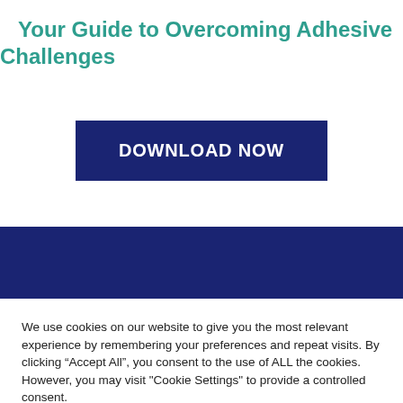Your Guide to Overcoming Adhesive Challenges
[Figure (other): Dark navy blue download button with text 'DOWNLOAD NOW' in white bold uppercase letters]
[Figure (other): Dark navy blue horizontal band/bar spanning full width]
We use cookies on our website to give you the most relevant experience by remembering your preferences and repeat visits. By clicking “Accept All”, you consent to the use of ALL the cookies. However, you may visit "Cookie Settings" to provide a controlled consent.
Cookie Settings | Accept All